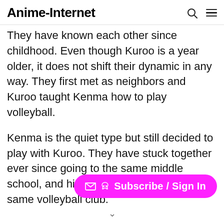Anime-Internet
They have known each other since childhood. Even though Kuroo is a year older, it does not shift their dynamic in any way. They first met as neighbors and Kuroo taught Kenma how to play volleyball.
Kenma is the quiet type but still decided to play with Kuroo. They have stuck together ever since going to the same middle school, and high school, and joining the same volleyball club.
[Figure (other): Magenta/pink pill-shaped Subscribe / Sign In button with envelope and cat icons]